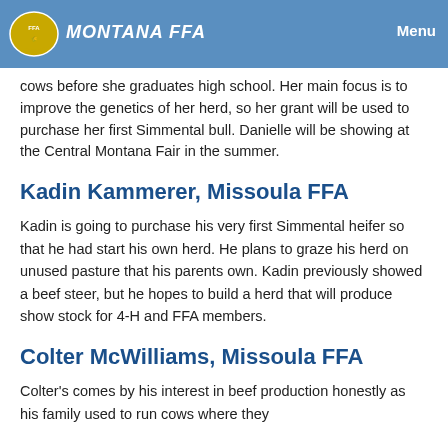MONTANA FFA | Menu
cows before she graduates high school. Her main focus is to improve the genetics of her herd, so her grant will be used to purchase her first Simmental bull. Danielle will be showing at the Central Montana Fair in the summer.
Kadin Kammerer, Missoula FFA
Kadin is going to purchase his very first Simmental heifer so that he had start his own herd. He plans to graze his herd on unused pasture that his parents own. Kadin previously showed a beef steer, but he hopes to build a herd that will produce show stock for 4-H and FFA members.
Colter McWilliams, Missoula FFA
Colter's comes by his interest in beef production honestly as his family used to run cows where they